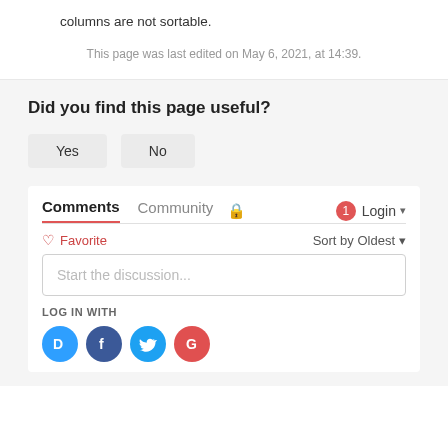columns are not sortable.
This page was last edited on May 6, 2021, at 14:39.
Did you find this page useful?
Yes   No
Comments   Community   🔒   1  Login ▾
♡ Favorite   Sort by Oldest ▾
Start the discussion...
LOG IN WITH
Disqus, Facebook, Twitter, Google social login icons